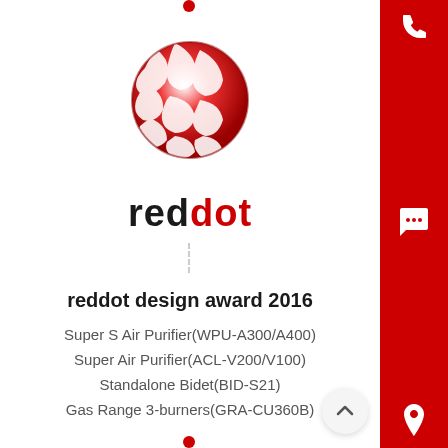[Figure (logo): Red dot award logo — a red globe/sphere made of swirling white and red stripes]
reddot
reddot design award 2016
Super S Air Purifier(WPU-A300/A400)
Super Air Purifier(ACL-V200/V100)
Standalone Bidet(BID-S21)
Gas Range 3-burners(GRA-CU360B)